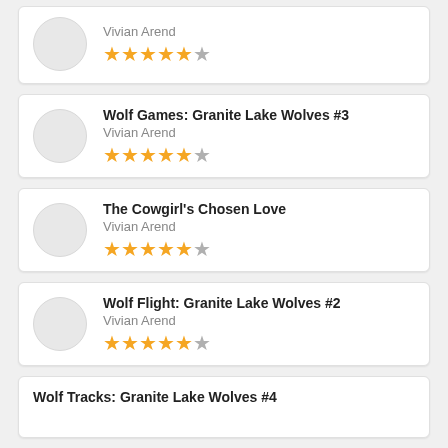Vivian Arend — 5 stars (partial top card)
Wolf Games: Granite Lake Wolves #3 — Vivian Arend — 4.5 stars
The Cowgirl's Chosen Love — Vivian Arend — 4.5 stars
Wolf Flight: Granite Lake Wolves #2 — Vivian Arend — 4.5 stars
Wolf Tracks: Granite Lake Wolves #4 (partial bottom card)